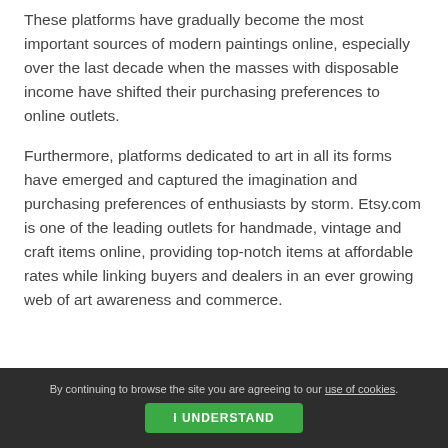These platforms have gradually become the most important sources of modern paintings online, especially over the last decade when the masses with disposable income have shifted their purchasing preferences to online outlets.
Furthermore, platforms dedicated to art in all its forms have emerged and captured the imagination and purchasing preferences of enthusiasts by storm. Etsy.com is one of the leading outlets for handmade, vintage and craft items online, providing top-notch items at affordable rates while linking buyers and dealers in an ever growing web of art awareness and commerce.
By continuing to browse the site you are agreeing to our use of cookies. I UNDERSTAND